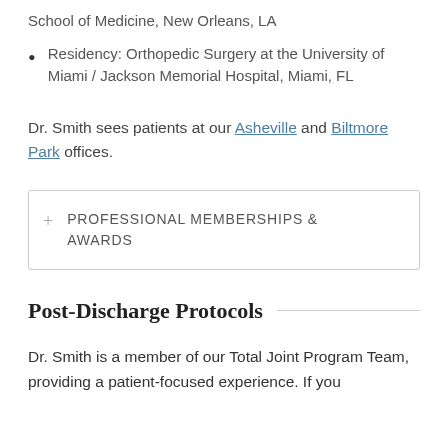School of Medicine, New Orleans, LA
Residency: Orthopedic Surgery at the University of Miami / Jackson Memorial Hospital, Miami, FL
Dr. Smith sees patients at our Asheville and Biltmore Park offices.
PROFESSIONAL MEMBERSHIPS & AWARDS
Post-Discharge Protocols
Dr. Smith is a member of our Total Joint Program Team, providing a patient-focused experience. If you